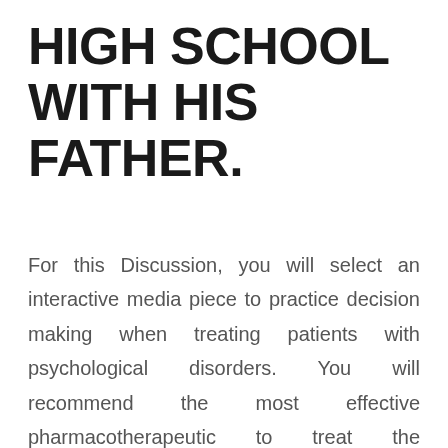HIGH SCHOOL WITH HIS FATHER.
For this Discussion, you will select an interactive media piece to practice decision making when treating patients with psychological disorders. You will recommend the most effective pharmacotherapeutic to treat the psychological disorder presented and examine potential impacts of pharmacotherapeutics on a patient's pathophysiology.